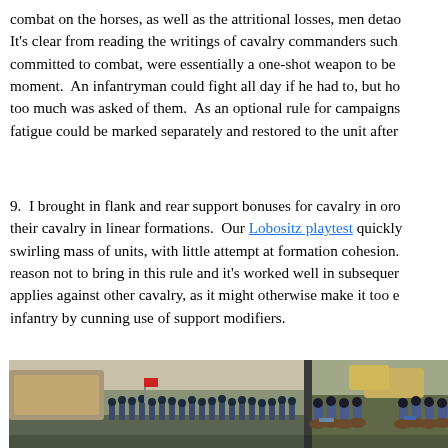combat on the horses, as well as the attritional losses, men detao It's clear from reading the writings of cavalry commanders such committed to combat, were essentially a one-shot weapon to be moment.  An infantryman could fight all day if he had to, but ho too much was asked of them.  As an optional rule for campaigns fatigue could be marked separately and restored to the unit after
9.  I brought in flank and rear support bonuses for cavalry in oro their cavalry in linear formations.  Our Lobositz playtest quickly swirling mass of units, with little attempt at formation cohesion. reason not to bring in this rule and it's worked well in subsequer applies against other cavalry, as it might otherwise make it too e infantry by cunning use of support modifiers.
[Figure (photo): Photograph of a tabletop wargame scene showing painted miniature soldiers (infantry and cavalry) arranged on a battlefield diorama with terrain features.]